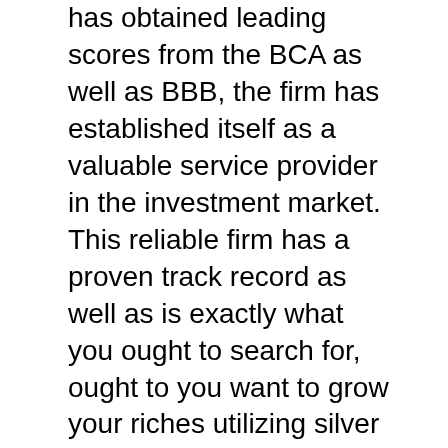has obtained leading scores from the BCA as well as BBB, the firm has established itself as a valuable service provider in the investment market. This reliable firm has a proven track record as well as is exactly what you ought to search for, ought to you want to grow your riches utilizing silver or gold.
Goldco concentrates on rare-earth element IRAs, which are self directed accounts using rare-earth elements, like silver as well as gold. Investments in rare-earth elements are wonderful for diversifying your portfolio and developing a financial buffer, to prevent the effect of stock exchange fluctuations. Silver and gold are prominent with investors, because of their historically stable worth. On top of that, precious metal worths tend to